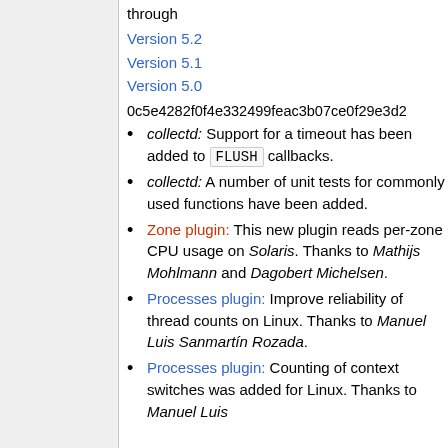through Version 5.2 Version 5.1 Version 5.0
0c5e4282f0f4e332499feac3b07ce0f29e3d2...
collectd: Support for a timeout has been added to FLUSH callbacks.
collectd: A number of unit tests for commonly used functions have been added.
Zone plugin: This new plugin reads per-zone CPU usage on Solaris. Thanks to Mathijs Mohlmann and Dagobert Michelsen.
Processes plugin: Improve reliability of thread counts on Linux. Thanks to Manuel Luis Sanmartín Rozada.
Processes plugin: Counting of context switches was added for Linux. Thanks to Manuel Luis